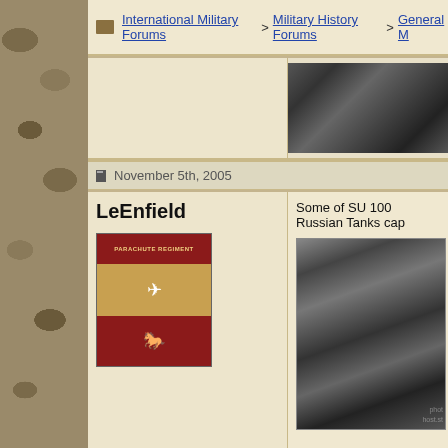International Military Forums > Military History Forums > General M
[Figure (photo): Grayscale historical military photograph in top right area]
November 5th, 2005
LeEnfield
[Figure (illustration): Parachute Regiment military badge/insignia with red arched banner top, wings on tan background, and pegasus on red background]
Some of SU 100 Russian Tanks cap
[Figure (photo): Black and white historical photograph of military personnel with photobucket watermark]